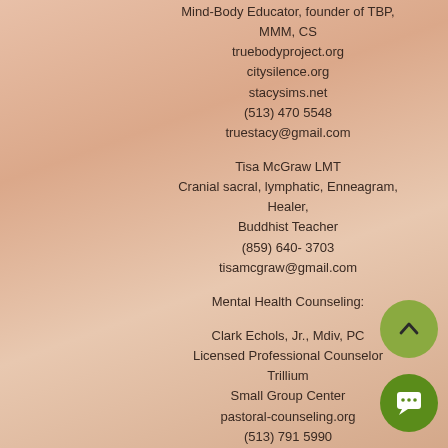Mind-Body Educator, founder of TBP, MMM, CS
truebodyproject.org
citysilence.org
stacysims.net
(513) 470 5548
truestacy@gmail.com
Tisa McGraw LMT
Cranial sacral, lymphatic, Enneagram, Healer,
Buddhist Teacher
(859) 640- 3703
tisamcgraw@gmail.com
Mental Health Counseling:
Clark Echols, Jr., Mdiv, PC
Licensed Professional Counselor
Trillium
Small Group Center
pastoral-counseling.org
(513) 791 5990
Janet Nash MSW, LISW-S, C-IAYT